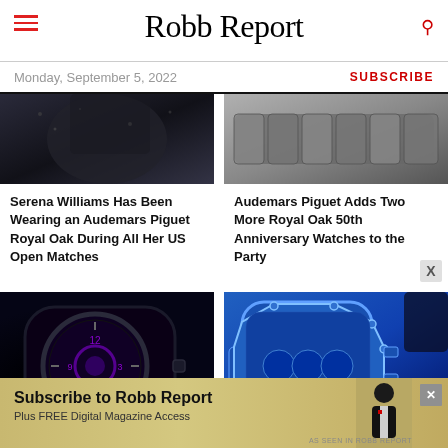Robb Report
Monday, September 5, 2022
SUBSCRIBE
[Figure (photo): Cropped photo of Serena Williams wearing dark outfit, upper body visible]
[Figure (photo): Audemars Piguet Royal Oak watch bracelet in dark metal against light background]
Serena Williams Has Been Wearing an Audemars Piguet Royal Oak During All Her US Open Matches
Audemars Piguet Adds Two More Royal Oak 50th Anniversary Watches to the Party
[Figure (photo): Dark purple/black avant-garde watch with green light glow, dramatic product photo]
[Figure (photo): Blue Audemars Piguet Royal Oak chronograph watch against dark background]
[Figure (advertisement): Subscribe to Robb Report advertisement banner with man in tuxedo]
Subscribe to Robb Report
Plus FREE Digital Magazine Access